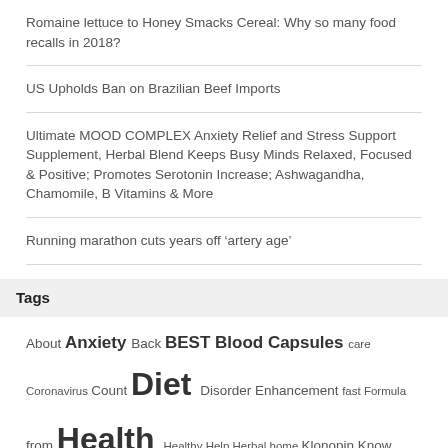Romaine lettuce to Honey Smacks Cereal: Why so many food recalls in 2018?
US Upholds Ban on Brazilian Beef Imports
Ultimate MOOD COMPLEX Anxiety Relief and Stress Support Supplement, Herbal Blend Keeps Busy Minds Relaxed, Focused & Positive; Promotes Serotonin Increase; Ashwagandha, Chamomile, B Vitamins & More
Running marathon cuts years off ‘artery age’
Tags
About Anxiety Back BEST Blood Capsules care Coronavirus Count Diet Disorder Enhancement fast Formula from Health Healthy Help Herbal home Klonopin Know Loss male Medical Monitor more Muscle Natural News Pack